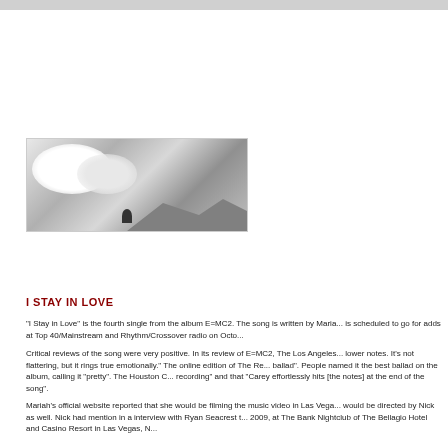[Figure (photo): Black and white landscape photo showing clouds, mountains in the background, and a small figure in the foreground]
I STAY IN LOVE
"I Stay in Love" is the fourth single from the album E=MC2. The song is written by Maria... is scheduled to go for adds at Top 40/Mainstream and Rhythm/Crossover radio on Octo...
Critical reviews of the song were very positive. In its review of E=MC2, The Los Angeles... lower notes. It's not flattering, but it rings true emotionally." The online edition of The Re... ballad". People named it the best ballad on the album, calling it "pretty". The Houston C... recording" and that "Carey effortlessly hits [the notes] at the end of the song".
Mariah's official website reported that she would be filming the music video in Las Vega... would be directed by Nick as well. Nick had mention in a interview with Ryan Seacrest t... 2009, at The Bank Nightclub of The Bellagio Hotel and Casino Resort in Las Vegas, N...